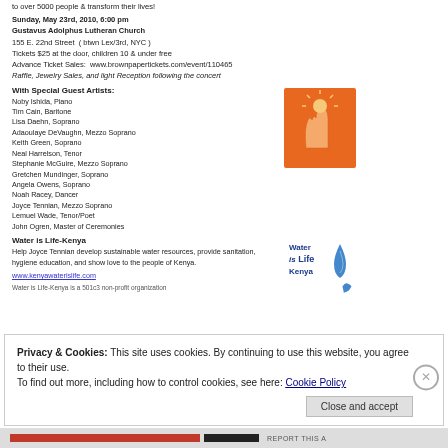to over 5000 people & transform their lives!
Sunday, May 23rd, 2010, 6:00 pm
Gustavus Adolphus Lutheran Church
155 E. 22nd Street  ( btwn Lex/3rd, NYC )
Tickets $25 at the door, children 10 & under free
Advance Ticket Sales:  www.brownpapertickets.com/event/110465
Raffle, Jewelry Sales, and light Reception following the concert
With Special Guest Artists:
Noby Ishida, Piano
Tim Cain, Baritone
Lisa Daehn, Soprano
Adaoulaye DeVaughn, Mezzo Soprano
Keith Green, Soprano
Neal Harrelson, Tenor
Stephanie McGuire, Mezzo Soprano
Gretchen Mundinger, Soprano
Angela Owens, Soprano
Noah Racey, Dancer
Joyce Tennian, Mezzo Soprano
Lemuel Wade, Tenor/Poet
John Ogren, Master of Ceremonies
[Figure (logo): Orange logo with two hands raised holding a sun symbol]
Water is Life-Kenya
Help Joyce Tennian develop sustainable water resources, provide sanitation, hygiene education, and show love to the people of Kenya.
[Figure (logo): Water is Life Kenya logo with blue water drop]
www.kenyawaterislife.com
Water is Life-Kenya is a 501c3 non-profit organization
Privacy & Cookies: This site uses cookies. By continuing to use this website, you agree to their use.
To find out more, including how to control cookies, see here: Cookie Policy